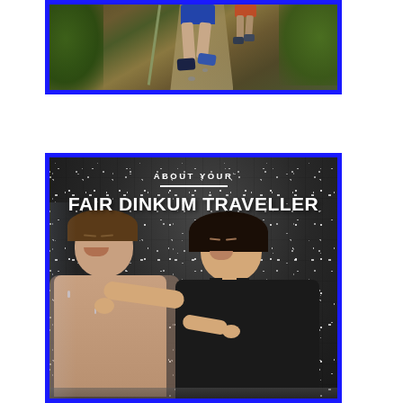[Figure (photo): Photo of hikers on a trail, showing legs and feet walking on a dirt path through green vegetation, framed with a blue border]
[Figure (photo): Photo of a couple laughing and smiling under a waterfall, getting splashed with water droplets, in black and white tones. Text overlay reads 'ABOUT YOUR' and 'FAIR DINKUM TRAVELLER'. Framed with a blue border.]